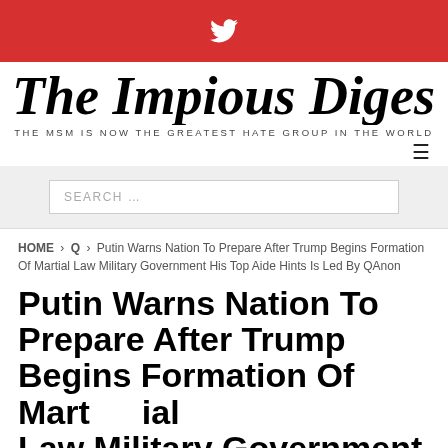Twitter icon (top bar)
The Impious Digest
THE MSM IS NOW THE GREATEST HATE GROUP IN THE WORLD
≡ (menu icon)
SEARCH …
HOME › Q › Putin Warns Nation To Prepare After Trump Begins Formation Of Martial Law Military Government His Top Aide Hints Is Led By QAnon
Putin Warns Nation To Prepare After Trump Begins Formation Of Martial Law Military Government His Top